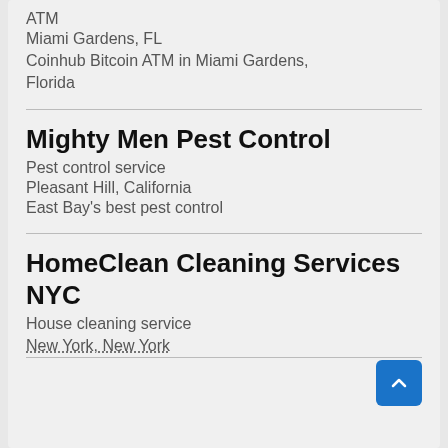ATM
Miami Gardens, FL
Coinhub Bitcoin ATM in Miami Gardens, Florida
Mighty Men Pest Control
Pest control service
Pleasant Hill, California
East Bay's best pest control
HomeClean Cleaning Services NYC
House cleaning service
New York, New York